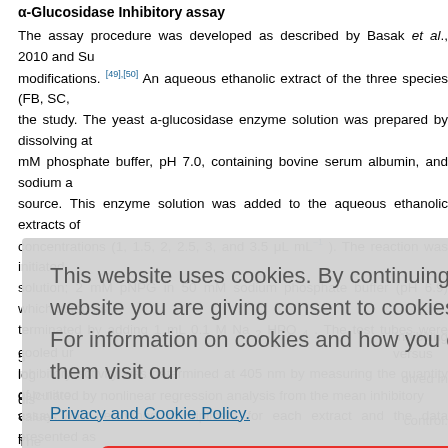α-Glucosidase Inhibitory assay
The assay procedure was developed as described by Basak et al., 2010 and Su modifications. [49],[50] An aqueous ethanolic extract of the three species (FB, SC, the study. The yeast a-glucosidase enzyme solution was prepared by dissolving at mM phosphate buffer, pH 7.0, containing bovine serum albumin, and sodium a source. This enzyme solution was added to the aqueous ethanolic extracts of concentrations (1, 1.5, 2, 2.5, 3, and 3.5 μL mL−1). The reaction was initiated solution; 2 mM pNPG in 50 mM sodium phosphate buffer (pH 6.9) which acted as terminated by adding 1 mL 0.1 M Na 2 HPO 4 . The test tubes were cooled under inhibitory activity was determined at 405 nm by measuring the quantity of p-nitro assay was performed in triplicate for each extract and the data presented as
This website uses cookies. By continuing to use this website you are giving consent to cookies being used. For information on cookies and how you can disable them visit our Privacy and Cookie Policy.
inhibiting 50 olved in dis control. The versus log calculated by nonlinear regression analysis from the mean inhibitory values.